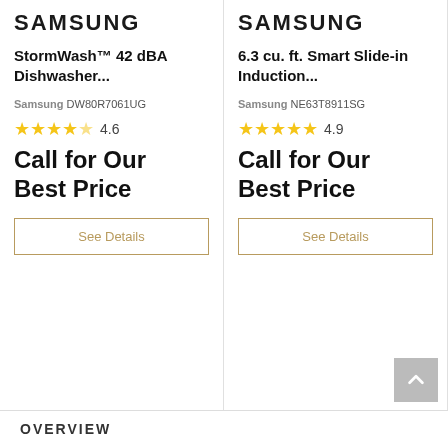[Figure (logo): Samsung logo left column]
StormWash™ 42 dBA Dishwasher...
Samsung DW80R7061UG
4.6 stars rating
Call for Our Best Price
See Details
[Figure (logo): Samsung logo right column]
6.3 cu. ft. Smart Slide-in Induction...
Samsung NE63T8911SG
4.9 stars rating
Call for Our Best Price
See Details
OVERVIEW